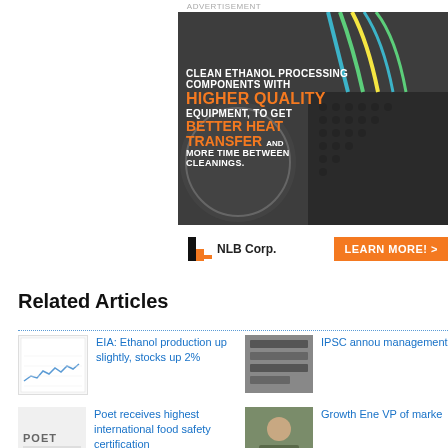ADVERTISEMENT
[Figure (photo): Advertisement banner for NLB Corp showing industrial ethanol processing equipment with colored wiring. Text overlay reads: CLEAN ETHANOL PROCESSING COMPONENTS WITH HIGHER QUALITY EQUIPMENT, TO GET BETTER HEAT TRANSFER AND MORE TIME BETWEEN CLEANINGS.]
[Figure (logo): NLB Corp logo with black and orange N-shaped mark followed by NLB Corp. text, and an orange LEARN MORE! button]
Related Articles
EIA: Ethanol production up slightly, stocks up 2%
IPSC annou management
Poet receives highest international food safety certification
Growth Ene VP of marke